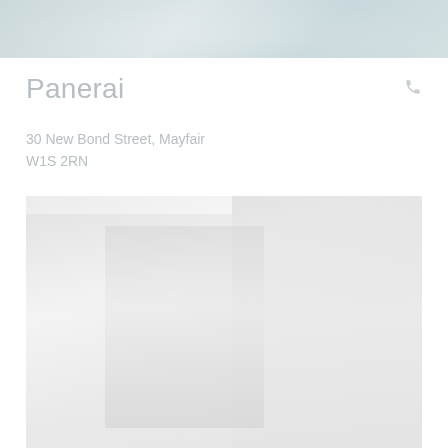[Figure (photo): Top banner image showing a faded, light-colored decorative or product photo with pale blue-grey tones]
Panerai
30 New Bond Street, Mayfair
W1S 2RN
[Figure (photo): Large faded product or store interior photo with pale grey tones, showing watches or store display]